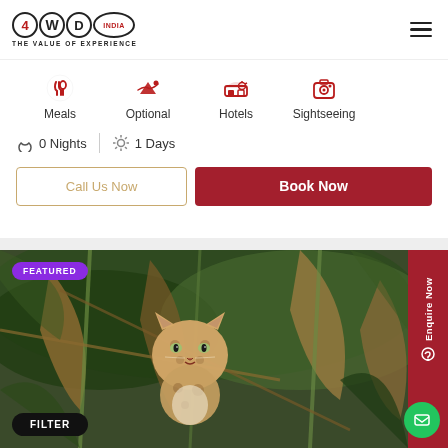4WDC INDIA — THE VALUE OF EXPERIENCE
Meals
Optional
Hotels
Sightseeing
0 Nights  |  1 Days
Call Us Now
Book Now
[Figure (photo): Leopard sitting in dense jungle foliage, looking at camera. A purple 'FEATURED' badge is in the top-left corner. A black 'FILTER' pill badge is in the bottom-left corner.]
Enquire Now
FILTER
FEATURED